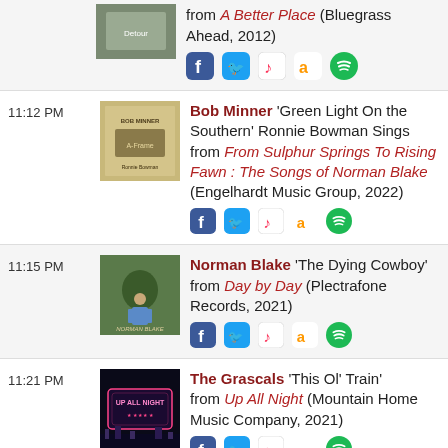from A Better Place (Bluegrass Ahead, 2012)
11:12 PM — Bob Minner 'Green Light On the Southern' Ronnie Bowman Sings from From Sulphur Springs To Rising Fawn : The Songs of Norman Blake (Engelhardt Music Group, 2022)
11:15 PM — Norman Blake 'The Dying Cowboy' from Day by Day (Plectrafone Records, 2021)
11:21 PM — The Grascals 'This Ol' Train' from Up All Night (Mountain Home Music Company, 2021)